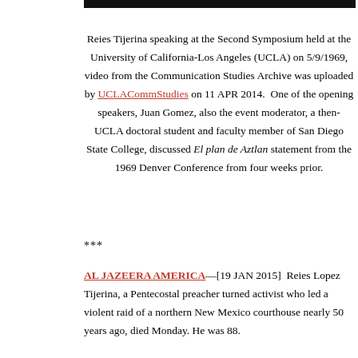[Figure (photo): Top strip of a black and white photograph, partially visible at the top of the page.]
Reies Tijerina speaking at the Second Symposium held at the University of California-Los Angeles (UCLA) on 5/9/1969, video from the Communication Studies Archive was uploaded by UCLACommStudies on 11 APR 2014. One of the opening speakers, Juan Gomez, also the event moderator, a then-UCLA doctoral student and faculty member of San Diego State College, discussed El plan de Aztlan statement from the 1969 Denver Conference from four weeks prior.
***
AL JAZEERA AMERICA—[19 JAN 2015] Reies Lopez Tijerina, a Pentecostal preacher turned activist who led a violent raid of a northern New Mexico courthouse nearly 50 years ago, died Monday. He was 88.